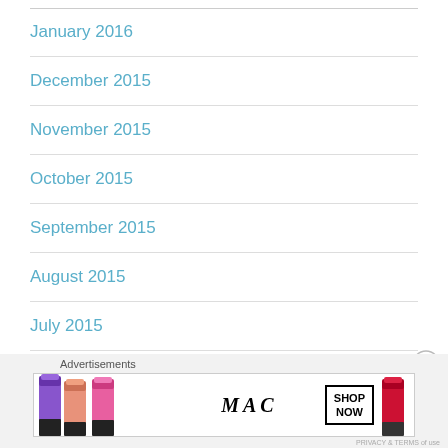January 2016
December 2015
November 2015
October 2015
September 2015
August 2015
July 2015
June 2015
Advertisements
[Figure (photo): MAC cosmetics advertisement banner showing colorful lipsticks and MAC logo with SHOP NOW button]